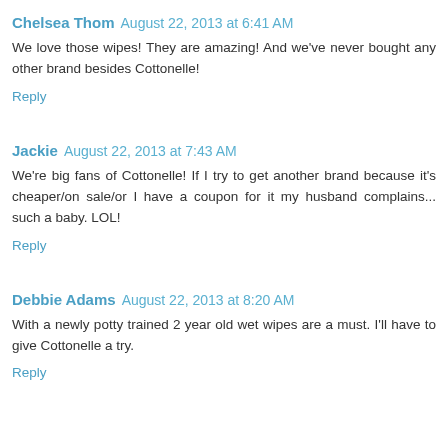Chelsea Thom  August 22, 2013 at 6:41 AM
We love those wipes! They are amazing! And we've never bought any other brand besides Cottonelle!
Reply
Jackie  August 22, 2013 at 7:43 AM
We're big fans of Cottonelle! If I try to get another brand because it's cheaper/on sale/or I have a coupon for it my husband complains... such a baby. LOL!
Reply
Debbie Adams  August 22, 2013 at 8:20 AM
With a newly potty trained 2 year old wet wipes are a must. I'll have to give Cottonelle a try.
Reply